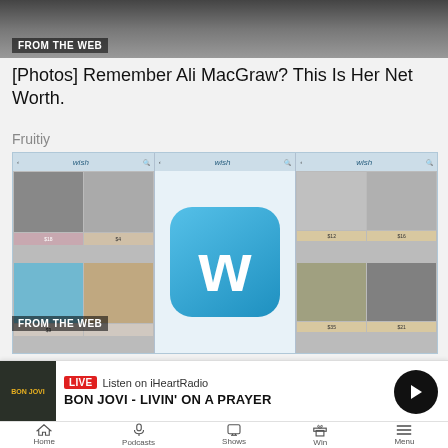[Figure (photo): Partial photo of a person from the web]
FROM THE WEB
[Photos] Remember Ali MacGraw? This Is Her Net Worth.
Fruitiy
[Figure (screenshot): Wish shopping app screenshots showing clothing, watches, and the Wish logo]
FROM THE WEB
[Pics] Check Today's Top Deals For Wish Here For Free
Coupon
[Figure (photo): Two partial thumbnail images at the bottom]
LIVE  Listen on iHeartRadio  BON JOVI - LIVIN' ON A PRAYER  Home  Podcasts  Shows  Win  Menu